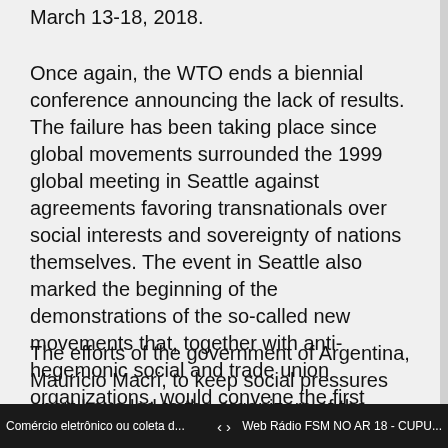March 13-18, 2018.
Once again, the WTO ends a biennial conference announcing the lack of results. The failure has been taking place since global movements surrounded the 1999 global meeting in Seattle against agreements favoring transnationals over social interests and sovereignty of nations themselves. The event in Seattle also marked the beginning of the demonstrations of the so-called new movements that, together with anti-hegemonic social and trade union organizations, would convene the first World Social Forum in 2001 in Porto Alegre.
The efforts of the government of Argentina, Maurício Macri, to keep social pressures apart have led to the organizers of the conference for the de-accreditation of activists and delegations of social organizations from various countries and the order of deportation of journalists without explanation or bases cool. The
Comércio eletrônico ou coleta d...   <  >   Web Rádio FSM NO AR 18 - CUPU...